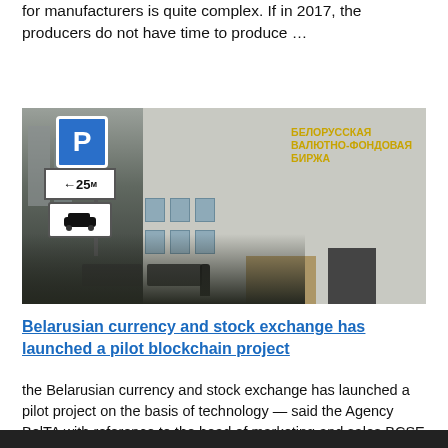for manufacturers is quite complex. If in 2017, the producers do not have time to produce …
[Figure (photo): Exterior photo of the Belarusian Currency and Stock Exchange building, with Cyrillic text on the facade reading БЕЛОРУССКАЯ ВАЛЮТНО-ФОНДОВАЯ БИРЖА, and street signs including a parking sign and 25m directional sign in the foreground.]
Belarusian currency and stock exchange has launched a pilot blockchain project
the Belarusian currency and stock exchange has launched a pilot project on the basis of technology — said the Agency BelTA with reference to the head of marketing and sales BCSE Vitaly Tikhonov. According to the head of the …